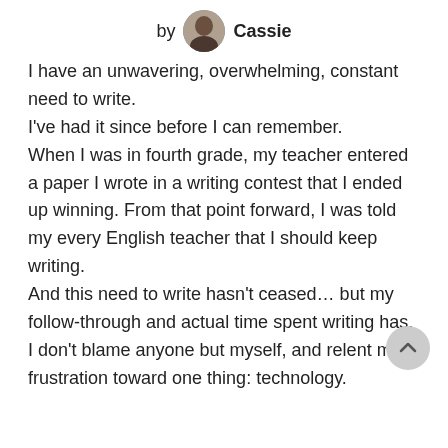by Cassie
I have an unwavering, overwhelming, constant need to write.
I've had it since before I can remember.
When I was in fourth grade, my teacher entered a paper I wrote in a writing contest that I ended up winning. From that point forward, I was told my every English teacher that I should keep writing.
And this need to write hasn't ceased… but my follow-through and actual time spent writing has.
I don't blame anyone but myself, and relent my frustration toward one thing: technology.